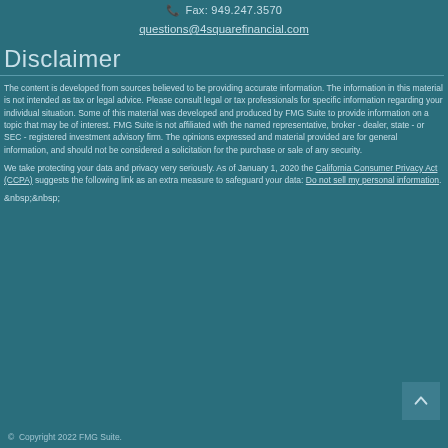Fax: 949.247.3570
questions@4squarefinancial.com
Disclaimer
The content is developed from sources believed to be providing accurate information. The information in this material is not intended as tax or legal advice. Please consult legal or tax professionals for specific information regarding your individual situation. Some of this material was developed and produced by FMG Suite to provide information on a topic that may be of interest. FMG Suite is not affiliated with the named representative, broker - dealer, state - or SEC - registered investment advisory firm. The opinions expressed and material provided are for general information, and should not be considered a solicitation for the purchase or sale of any security.
We take protecting your data and privacy very seriously. As of January 1, 2020 the California Consumer Privacy Act (CCPA) suggests the following link as an extra measure to safeguard your data: Do not sell my personal information.
&nbsp;&nbsp;
© Copyright 2022 FMG Suite.